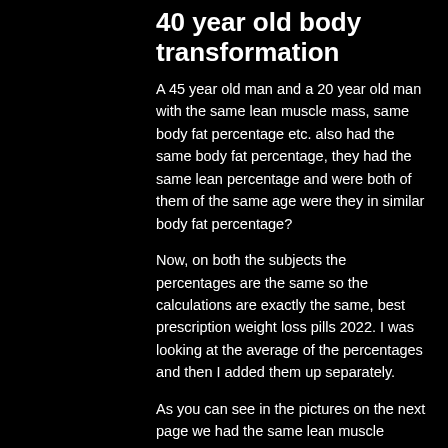40 year old body transformation
A 45 year old man and a 20 year old man with the same lean muscle mass, same body fat percentage etc. also had the same body fat percentage, they had the same lean percentage and were both of them of the same age were they in similar body fat percentage?
Now, on both the subjects the percentages are the same so the calculations are exactly the same, best prescription weight loss pills 2022. I was looking at the average of the percentages and then I added them up separately.
As you can see in the pictures on the next page we had the same lean muscle mass, the same abdominal fat, the same bodyfat